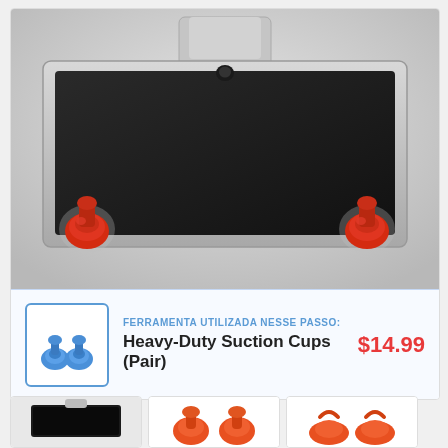[Figure (photo): iMac lying face down on a white surface with two red heavy-duty suction cups attached to corners of the screen, and a metal stand visible at top. The iMac screen is black/dark.]
FERRAMENTA UTILIZADA NESSE PASSO:
Heavy-Duty Suction Cups (Pair)
$14.99
[Figure (photo): Thumbnail: iMac from top angle with stand]
[Figure (photo): Thumbnail: Red/orange suction cups pair]
[Figure (photo): Thumbnail: Red/orange suction cups pair alternative view]